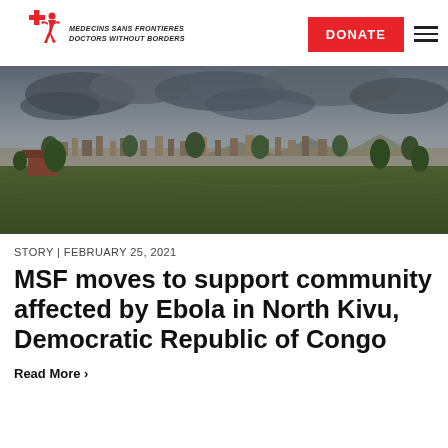[Figure (logo): MSF (Médecins Sans Frontières / Doctors Without Borders) logo with red running figure and cross, plus text MEDECINS SANS FRONTIERES DOCTORS WITHOUT BORDERS]
[Figure (other): Red DONATE button]
[Figure (photo): Wide landscape photograph of a city/town in the Democratic Republic of Congo with green fields in the foreground, buildings in the middle distance, trees, and a cloudy sky with mountains in the background]
STORY | FEBRUARY 25, 2021
MSF moves to support community affected by Ebola in North Kivu, Democratic Republic of Congo
Read More >